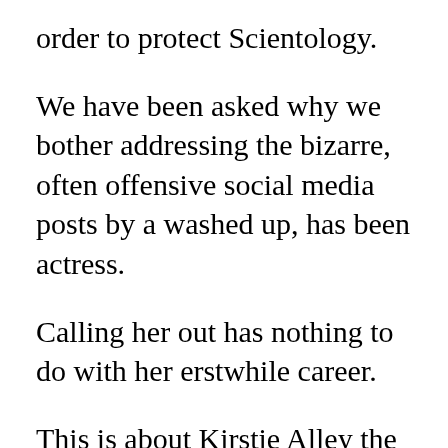order to protect Scientology.
We have been asked why we bother addressing the bizarre, often offensive social media posts by a washed up, has been actress.
Calling her out has nothing to do with her erstwhile career.
This is about Kirstie Alley the Scientologist spokesperson and